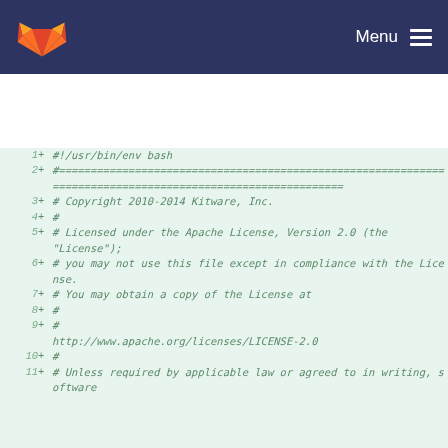Menu
1  + #!/usr/bin/env bash
2  + #=====================================================================
3  + # Copyright 2010-2014 Kitware, Inc.
4  + #
5  + # Licensed under the Apache License, Version 2.0 (the "License");
6  + # you may not use this file except in compliance with the License.
7  + # You may obtain a copy of the License at
8  + #
9  + # http://www.apache.org/licenses/LICENSE-2.0
10 + #
11 + # Unless required by applicable law or agreed to in writing, software